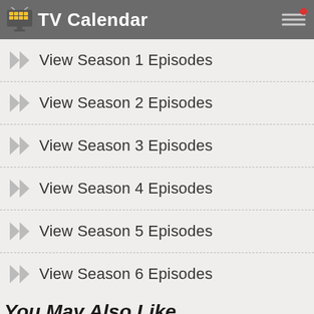TV Calendar
View Season 1 Episodes
View Season 2 Episodes
View Season 3 Episodes
View Season 4 Episodes
View Season 5 Episodes
View Season 6 Episodes
You May Also Like...
[Figure (photo): A movie/TV show promotional image with a red and yellow/beige background showing silhouetted figures with weapons]